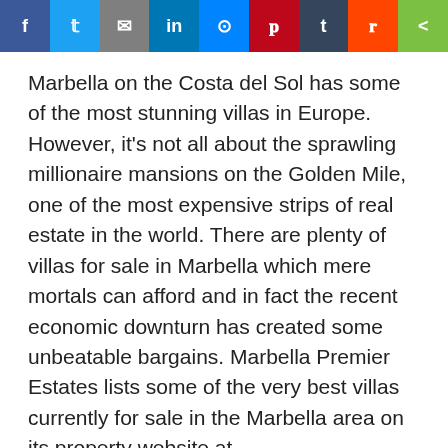[Figure (other): Social media sharing buttons: Facebook, Twitter, Email, LinkedIn, Messenger, Pinterest, Tumblr, Reddit, ShareThis]
Marbella on the Costa del Sol has some of the most stunning villas in Europe. However, it's not all about the sprawling millionaire mansions on the Golden Mile, one of the most expensive strips of real estate in the world. There are plenty of villas for sale in Marbella which mere mortals can afford and in fact the recent economic downturn has created some unbeatable bargains. Marbella Premier Estates lists some of the very best villas currently for sale in the Marbella area on its property website at http://www.marbellapremierestates.es/.
There's more to villas in Marbella than those owned by jet-set millionaires and celebrities. There are